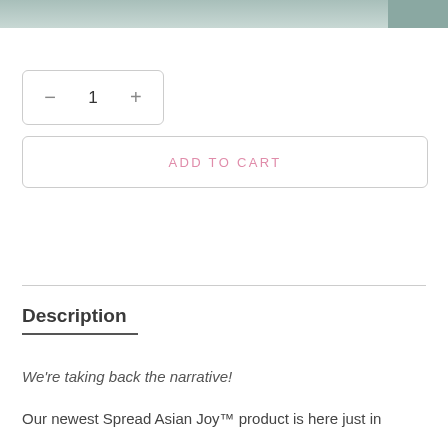[Figure (photo): Partial top strip of a photo showing a blurred background scene]
[Figure (other): Quantity selector UI element with minus button, value 1, and plus button inside a rounded rectangle border]
[Figure (other): ADD TO CART button with pink text inside a rounded rectangle border]
Description
We're taking back the narrative!
Our newest Spread Asian Joy™ product is here just in